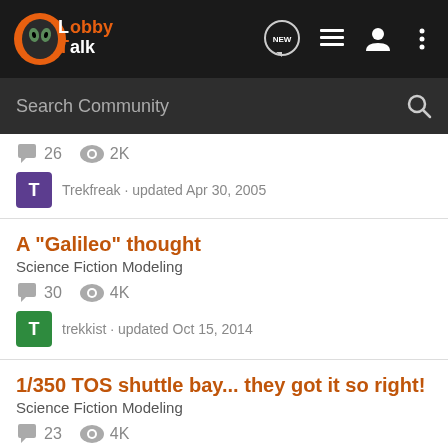LobbyTalk
Search Community
26 comments · 2K views · Trekfreak · updated Apr 30, 2005
A "Galileo" thought
Science Fiction Modeling
30 comments · 4K views · trekkist · updated Oct 15, 2014
1/350 TOS shuttle bay... they got it so right!
Science Fiction Modeling
23 comments · 4K views